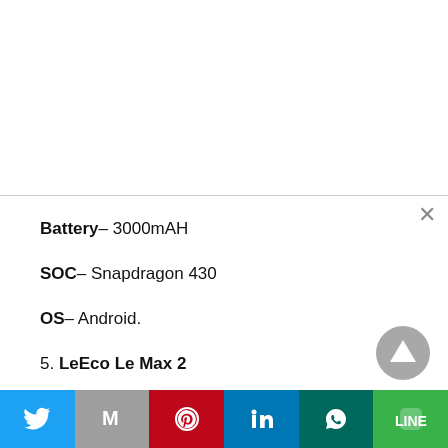Battery– 3000mAH
SOC– Snapdragon 430
OS– Android.
5. LeEco Le Max 2
The Le Max 2 flagship from LeEco is one of the most prominent phones. This is all due to the fast